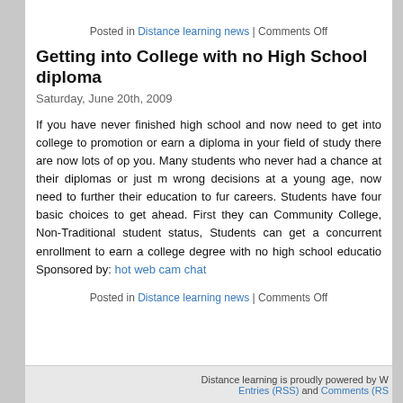Posted in Distance learning news | Comments Off
Getting into College with no High School diploma
Saturday, June 20th, 2009
If you have never finished high school and now need to get into college to promotion or earn a diploma in your field of study there are now lots of op you. Many students who never had a chance at their diplomas or just m wrong decisions at a young age, now need to further their education to fur careers. Students have four basic choices to get ahead. First they can Community College, Non-Traditional student status, Students can get a concurrent enrollment to earn a college degree with no high school educatio Sponsored by: hot web cam chat
Posted in Distance learning news | Comments Off
Distance learning is proudly powered by W Entries (RSS) and Comments (RS